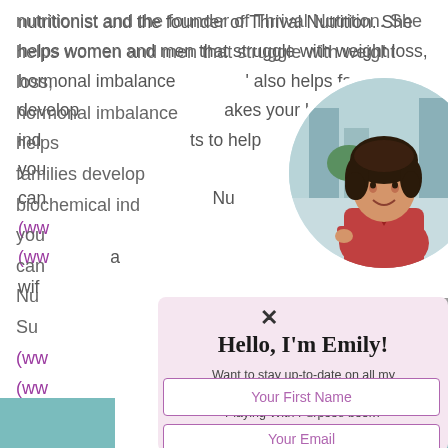nutritionist and the founder of Thrival Nutrition. She helps women and men that struggle with weight loss, hormonal imbalances, and also helps families develop healthy habits. She takes your biochemical individuality into account and wants to help you make healthy, sustainable lifestyle changes that can help you thrive. She is a Registered Dietitian Nutritionist (RDN) and a Certified LEAP Therapist (CLT) and holds a Support...
[Figure (photo): Circular profile photo of a woman (Emily) with curly brown hair, wearing a red blouse, smiling, with an urban background with trees and buildings.]
Hello, I'm Emily!
Want to stay up-to-date on all my news and resources like the Playing With Purpose book?
Your First Name
Your Email